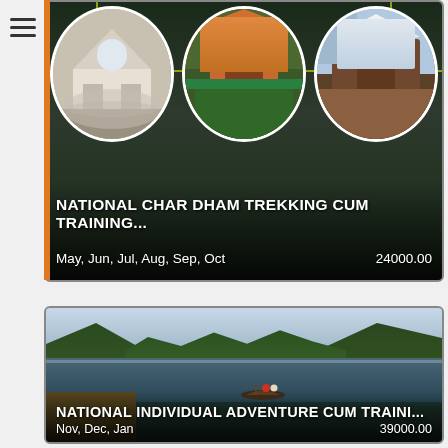[Figure (photo): Travel package card for National Char Dham Trekking Cum Training with dark green background, circular photo collage of religious sites/temples, and price details]
NATIONAL CHAR DHAM TREKKING CUM TRAINING...
May, Jun, Jul, Aug, Sep, Oct   24000.00
[Figure (photo): Travel package card for National Individual Adventure Cum Training showing a scenic lake with a boat and green forested hills]
NATIONAL INDIVIDUAL ADVENTURE CUM TRAINI...
Nov, Dec, Jan   39000.00